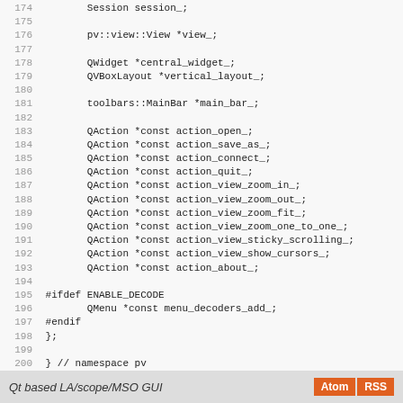174   Session session_;
175
176       pv::view::View *view_;
177
178       QWidget *central_widget_;
179       QVBoxLayout *vertical_layout_;
180
181       toolbars::MainBar *main_bar_;
182
183       QAction *const action_open_;
184       QAction *const action_save_as_;
185       QAction *const action_connect_;
186       QAction *const action_quit_;
187       QAction *const action_view_zoom_in_;
188       QAction *const action_view_zoom_out_;
189       QAction *const action_view_zoom_fit_;
190       QAction *const action_view_zoom_one_to_one_;
191       QAction *const action_view_sticky_scrolling_;
192       QAction *const action_view_show_cursors_;
193       QAction *const action_about_;
194
195 #ifdef ENABLE_DECODE
196       QMenu *const menu_decoders_add_;
197 #endif
198 };
199
200 } // namespace pv
201
202 #endif // PULSEVIEW_PV_MAINWINDOW_HPP
Qt based LA/scope/MSO GUI